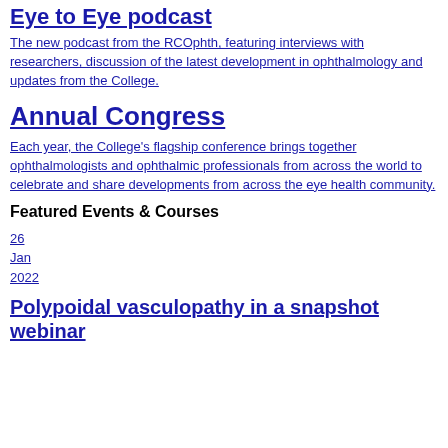Eye to Eye podcast
The new podcast from the RCOphth, featuring interviews with researchers, discussion of the latest development in ophthalmology and updates from the College.
Annual Congress
Each year, the College's flagship conference brings together ophthalmologists and ophthalmic professionals from across the world to celebrate and share developments from across the eye health community.
Featured Events & Courses
26
Jan
2022
Polypoidal vasculopathy in a snapshot webinar